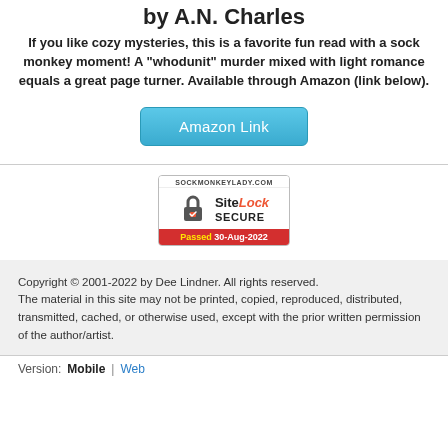by A.N. Charles
If you like cozy mysteries, this is a favorite fun read with a sock monkey moment!  A "whodunit" murder mixed with light romance equals a great page turner. Available through Amazon (link below).
[Figure (other): Amazon Link button - blue rounded rectangle button with white text reading 'Amazon Link']
[Figure (other): SiteLock SECURE badge showing SOCKMONKEYLADY.COM, lock icon, SiteLock SECURE text, Passed 30-Aug-2022]
Copyright © 2001-2022 by Dee Lindner. All rights reserved.
The material in this site may not be printed, copied, reproduced, distributed, transmitted, cached, or otherwise used, except with the prior written permission of the author/artist.
Version:  Mobile  |  Web